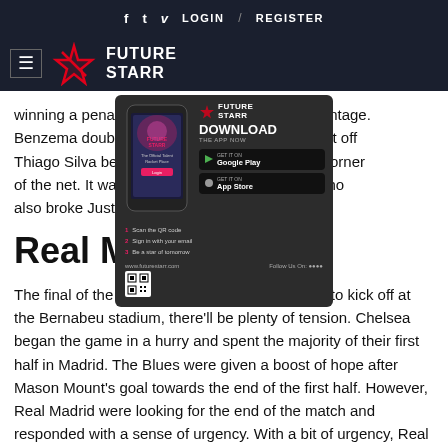f  t  v  LOGIN  /  REGISTER
[Figure (logo): Future Starr logo with hamburger menu icon on dark navy background]
winning a penalty  the advantage. Benzema doubled taking a shot off Thiago Silva before into the far corner of the net. It was  Benzema who also broke Just F ing records.
[Figure (screenshot): Future Starr app advertisement overlay showing phone mockup, Download The App Now headline, Google Play and App Store buttons, QR code, and www.futurestarr.com URL]
Real Ma
The final of the champions league is scheduled to kick off at the Bernabeu stadium, there'll be plenty of tension. Chelsea began the game in a hurry and spent the majority of their first half in Madrid. The Blues were given a boost of hope after Mason Mount's goal towards the end of the first half. However, Real Madrid were looking for the end of the match and responded with a sense of urgency. With a bit of urgency, Real Madrid